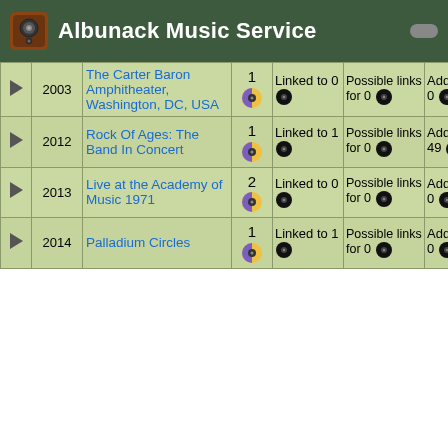Albunack Music Service
|  | Year | Title | # | Linked | Possible links for | Additional |
| --- | --- | --- | --- | --- | --- | --- |
| ▶ | 2003 | The Carter Baron Amphitheater, Washington, DC, USA | 1 | Linked to 0 ● | Possible links for 0 ● | Additional 0 ● |
| ▶ | 2012 | Rock Of Ages: The Band In Concert | 1 | Linked to 1 ● | Possible links for 0 ● | Additional 49 ● |
| ▶ | 2013 | Live at the Academy of Music 1971 | 2 | Linked to 0 ● | Possible links for 0 ● | Additional 0 ● |
| ▶ | 2014 | Palladium Circles | 1 | Linked to 1 ● | Possible links for 0 ● | Additional 0 ● |